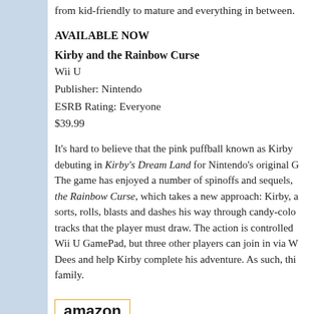from kid-friendly to mature and everything in between.
AVAILABLE NOW
Kirby and the Rainbow Curse
Wii U
Publisher: Nintendo
ESRB Rating: Everyone
$39.99
It’s hard to believe that the pink puffball known as Kirby debuting in Kirby’s Dream Land for Nintendo’s original G… The game has enjoyed a number of spinoffs and sequels, … the Rainbow Curse, which takes a new approach: Kirby, a sorts, rolls, blasts and dashes his way through candy-colo… tracks that the player must draw. The action is controlled … Wii U GamePad, but three other players can join in via W… Dees and help Kirby complete his adventure. As such, thi… family.
[Figure (logo): Amazon logo with orange smile arrow]